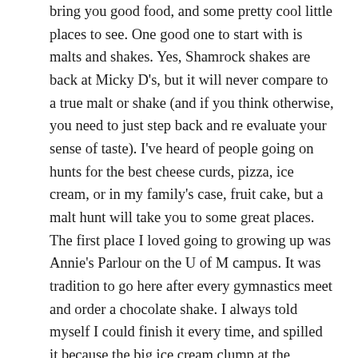bring you good food, and some pretty cool little places to see. One good one to start with is malts and shakes. Yes, Shamrock shakes are back at Micky D's, but it will never compare to a true malt or shake (and if you think otherwise, you need to just step back and re evaluate your sense of taste). I've heard of people going on hunts for the best cheese curds, pizza, ice cream, or in my family's case, fruit cake, but a malt hunt will take you to some great places. The first place I loved going to growing up was Annie's Parlour on the U of M campus. It was tradition to go here after every gymnastics meet and order a chocolate shake. I always told myself I could finish it every time, and spilled it because the big ice cream clump at the bottom would make my glass overflow from coming out too fast as I poured. Annie's is fun to go to not just because of the malt, but because it is located on the second floor of an old building, overlooking campus. Not to mention, the food is good too! Being in a college town can really make everything more interesting sometimes. The second place I recommend taking your malt hunt to, is The Malt Shop in Minneapolis. It